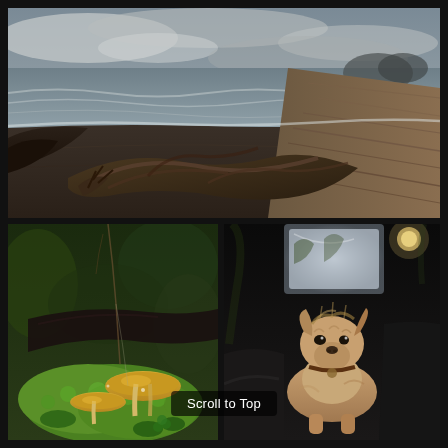[Figure (photo): Coastal beach scene with dark sand, driftwood in foreground, rocky cliffs on the right, waves on a grey overcast day]
[Figure (photo): Close-up of yellow mushrooms growing on bright green moss and forest floor with fallen logs and clover leaves]
[Figure (photo): Small scruffy terrier dog standing inside a dark car interior looking upward]
Scroll to Top